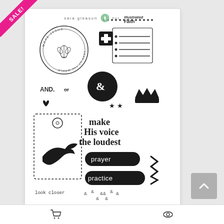[Figure (photo): Product photo of a clear stamp set by Sara Gleason for Illustrated Faith, showing multiple stamps including 'make His voice the loudest', 'prayer', 'practice', 'AND. or', 'look closer', a bird, crown, tag, ampersand, cross, circle with 'MORE JESUS LESS OF THE WORLD', hearts, stars, and decorative elements on a white card with pink/green branding header. A pink SALE ribbon banner is in the top-left corner.]
Cart and eye/view icons at bottom navigation bar